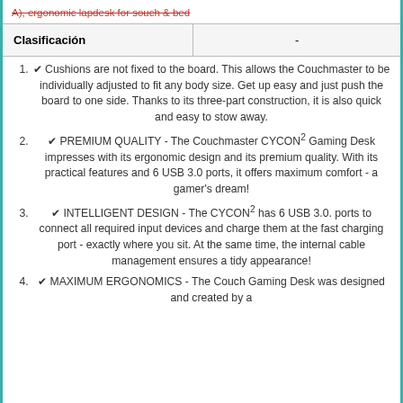A), ergonomic lapdesk for souch & bed
| Clasificación | - |
| --- | --- |
✔ Cushions are not fixed to the board. This allows the Couchmaster to be individually adjusted to fit any body size. Get up easy and just push the board to one side. Thanks to its three-part construction, it is also quick and easy to stow away.
✔ PREMIUM QUALITY - The Couchmaster CYCON² Gaming Desk impresses with its ergonomic design and its premium quality. With its practical features and 6 USB 3.0 ports, it offers maximum comfort - a gamer's dream!
✔ INTELLIGENT DESIGN - The CYCON² has 6 USB 3.0. ports to connect all required input devices and charge them at the fast charging port - exactly where you sit. At the same time, the internal cable management ensures a tidy appearance!
✔ MAXIMUM ERGONOMICS - The Couch Gaming Desk was designed and created by a